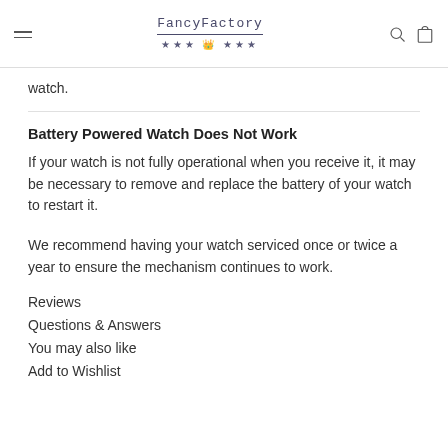FancyFactory
watch.
Battery Powered Watch Does Not Work
If your watch is not fully operational when you receive it, it may be necessary to remove and replace the battery of your watch to restart it.
We recommend having your watch serviced once or twice a year to ensure the mechanism continues to work.
Reviews
Questions & Answers
You may also like
Add to Wishlist